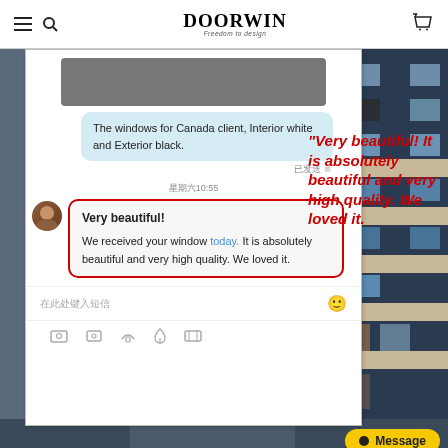DOORWIN - Freedom by design
[Figure (screenshot): Screenshot of a WeChat conversation showing a message bubble: 'The windows for Canada client, Interior white and Exterior black.' with timestamp 星期六10:55, and a received message highlighted in red border: 'Very beautiful! We received your window today. It is absolutely beautiful and very high quality. We loved it.']
"Very beautiful! It is absolutely beautiful and very high quality. We loved it."